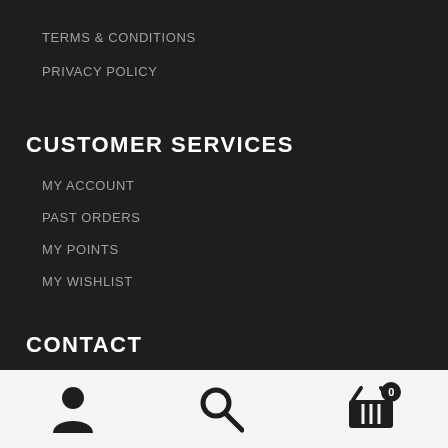TERMS & CONDITIONS
PRIVACY POLICY
CUSTOMER SERVICES
MY ACCOUNT
PAST ORDERS
MY POINTS
MY WISHLIST
CONTACT
[Figure (infographic): Bottom navigation bar with user/account icon, search icon, and shopping basket icon with badge showing 0]